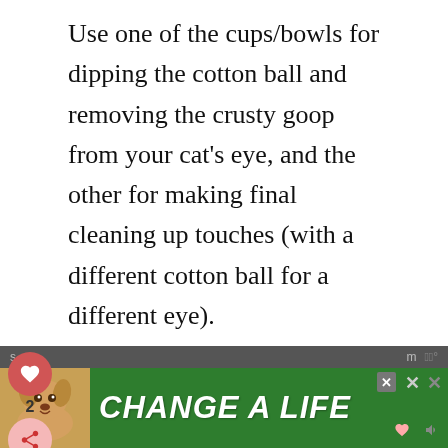Use one of the cups/bowls for dipping the cotton ball and removing the crusty goop from your cat's eye, and the other for making final cleaning up touches (with a different cotton ball for a different eye).

It's important to not reuse cotton balls. One eye may have an infection while the other does not, so using cotton balls for different eyes with two
[Figure (screenshot): Social interaction sidebar with heart icon button (red circle), count '2', and share button (pink circle with share icon)]
[Figure (infographic): Advertisement banner at bottom: green background with dog photo on left and 'CHANGE A LIFE' text in white italic bold font, with close X buttons and heart/sound icons]